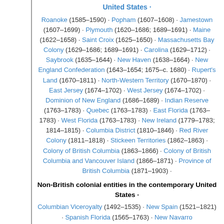United States ·
Roanoke (1585–1590) · Popham (1607–1608) · Jamestown (1607–1699) · Plymouth (1620–1686; 1689–1691) · Maine (1622–1658) · Saint Croix (1625–1650) · Massachusetts Bay Colony (1629–1686; 1689–1691) · Carolina (1629–1712) · Saybrook (1635–1644) · New Haven (1638–1664) · New England Confederation (1643–1654; 1675–c. 1680) · Rupert's Land (1670–1811) · North-Western Territory (1670–1870) · East Jersey (1674–1702) · West Jersey (1674–1702) · Dominion of New England (1686–1689) · Indian Reserve (1763–1783) · Quebec (1763–1783) · East Florida (1763–1783) · West Florida (1763–1783) · New Ireland (1779–1783; 1814–1815) · Columbia District (1810–1846) · Red River Colony (1811–1818) · Stickeen Territories (1862–1863) · Colony of British Columbia (1863–1866) · Colony of British Columbia and Vancouver Island (1866–1871) · Province of British Columbia (1871–1903) ·
Non-British colonial entities in the contemporary United States ·
Columbian Viceroyalty (1492–1535) · New Spain (1521–1821) · Spanish Florida (1565–1763) · New Navarro